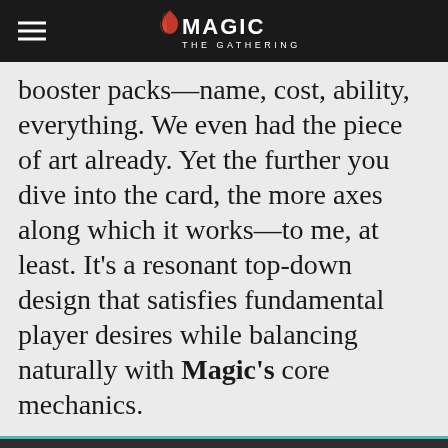Magic: The Gathering
booster packs—name, cost, ability, everything. We even had the piece of art already. Yet the further you dive into the card, the more axes along which it works—to me, at least. It's a resonant top-down design that satisfies fundamental player desires while balancing naturally with Magic's core mechanics.
We use necessary cookies to allow our site to function correctly and collect anonymous session data. Necessary cookies can be opted out through your browser settings. We also use optional cookies to personalize content and ads, provide social medial features and analyze web traffic. By clicking "OK, I agree," you consent to optional cookies. (Learn more about cookies.)
OK, I agree
No, thanks